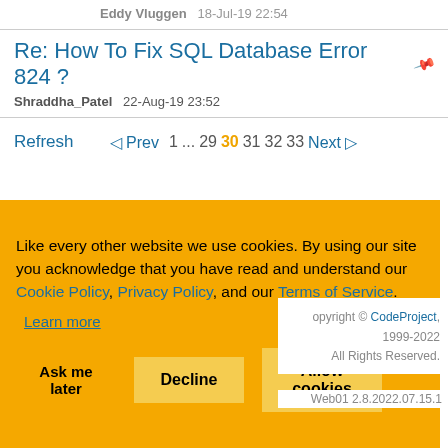Eddy Vluggen   18-Jul-19 22:54
Re: How To Fix SQL Database Error 824 ?
Shraddha_Patel   22-Aug-19 23:52
Refresh   ◁ Prev  1  ...  29  30  31  32  33  Next ▷
Like every other website we use cookies. By using our site you acknowledge that you have read and understand our Cookie Policy, Privacy Policy, and our Terms of Service.
Learn more
Ask me later   Decline   Allow cookies
Copyright © CodeProject, 1999-2022 All Rights Reserved.
Web01 2.8.2022.07.15.1